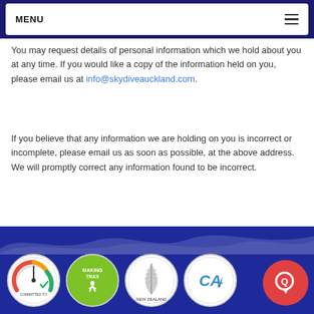MENU
You may request details of personal information which we hold about you at any time. If you would like a copy of the information held on you, please email us at info@skydiveauckland.com.
If you believe that any information we are holding on you is incorrect or incomplete, please email us as soon as possible, at the above address. We will promptly correct any information found to be incorrect.
[Figure (other): Footer with dark blue background, brush stroke wave at top, four circular badge logos (Committed To, Making Trax, New Zealand fern mark, CAA), and a red circular chat button on the right]